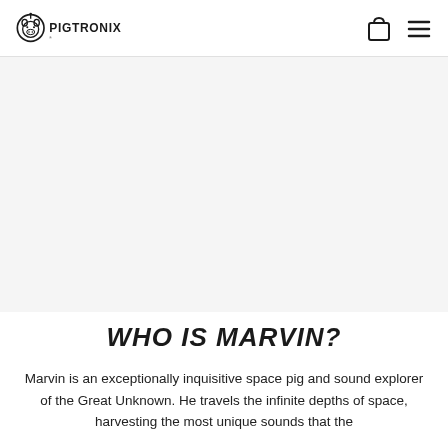PIGTRONIX
[Figure (photo): Large product/hero image area, mostly white/light gray, appears to be a product or character image for Pigtronix Marvin product page]
WHO IS MARVIN?
Marvin is an exceptionally inquisitive space pig and sound explorer of the Great Unknown. He travels the infinite depths of space, harvesting the most unique sounds that the